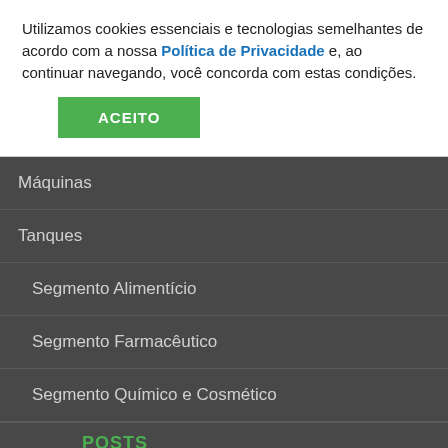Utilizamos cookies essenciais e tecnologias semelhantes de acordo com a nossa Política de Privacidade e, ao continuar navegando, você concorda com estas condições.
ACEITO
Máquinas
Tanques
Segmento Alimentício
Segmento Farmacêutico
Segmento Químico e Cosmético
POSTS
Blog